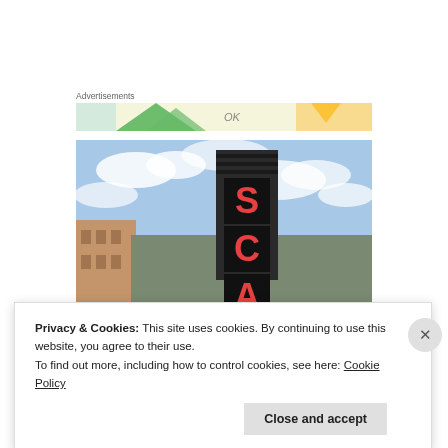Advertisements
[Figure (photo): Colorful advertisement banner strip with triangles and text]
[Figure (photo): Photograph of a vertical theater sign showing letters S, C, A against a partly cloudy blue sky, building facade visible]
Privacy & Cookies: This site uses cookies. By continuing to use this website, you agree to their use.
To find out more, including how to control cookies, see here: Cookie Policy
Close and accept